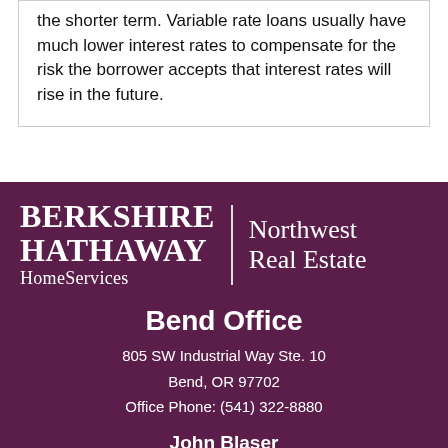the shorter term. Variable rate loans usually have much lower interest rates to compensate for the risk the borrower accepts that interest rates will rise in the future.
[Figure (logo): Berkshire Hathaway HomeServices Northwest Real Estate logo with Bend Office contact information]
Bend Office
805 SW Industrial Way Ste. 10
Bend, OR 97702
Office Phone: (541) 322-8880
John Blaser